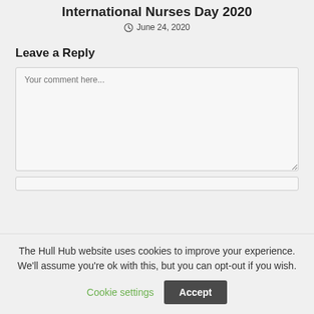International Nurses Day 2020
June 24, 2020
Leave a Reply
Your comment here...
The Hull Hub website uses cookies to improve your experience. We'll assume you're ok with this, but you can opt-out if you wish. Cookie settings  Accept